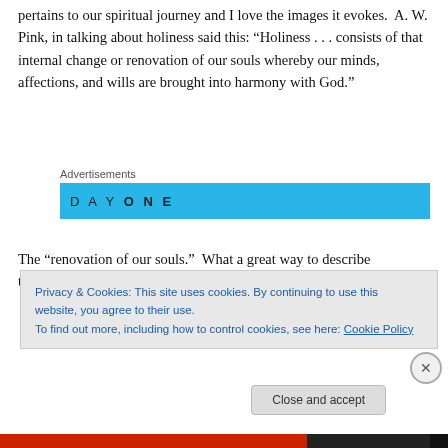pertains to our spiritual journey and I love the images it evokes.  A. W. Pink, in talking about holiness said this: “Holiness . . . consists of that internal change or renovation of our souls whereby our minds, affections, and wills are brought into harmony with God.”
[Figure (other): Advertisements banner showing 'DAY ONE' in spaced letters on a blue background]
The “renovation of our souls.”  What a great way to describe transformation or the progression of becoming
Privacy & Cookies: This site uses cookies. By continuing to use this website, you agree to their use.
To find out more, including how to control cookies, see here: Cookie Policy